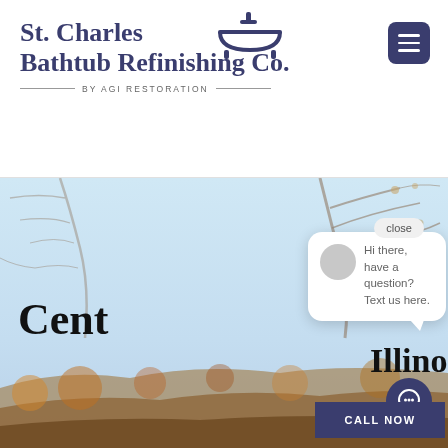[Figure (logo): St. Charles Bathtub Refinishing Co. BY AGI RESTORATION logo with bathtub icon]
[Figure (screenshot): Hero background image showing autumn trees with bare branches against light blue sky and colorful foliage below]
Cent Illinois
Hi there, have a question? Text us here.
close
CALL NOW